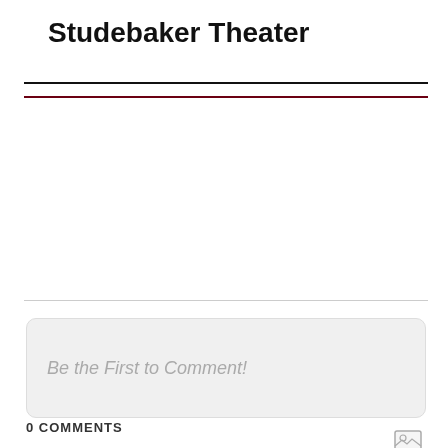Studebaker Theater
Be the First to Comment!
0 COMMENTS